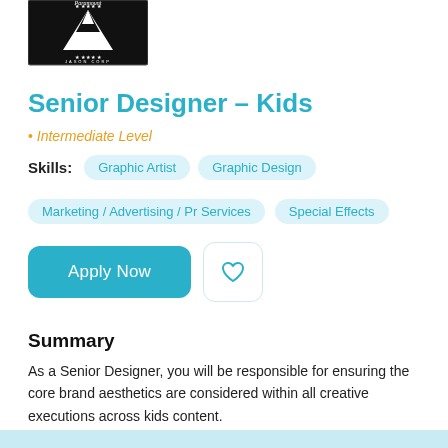[Figure (logo): Paramount logo - black and white mountain with stars and text]
Senior Designer – Kids
• Intermediate Level
Skills: Graphic Artist  Graphic Design  Marketing / Advertising / Pr Services  Special Effects
Apply Now
Summary
As a Senior Designer, you will be responsible for ensuring the core brand aesthetics are considered within all creative executions across kids content.